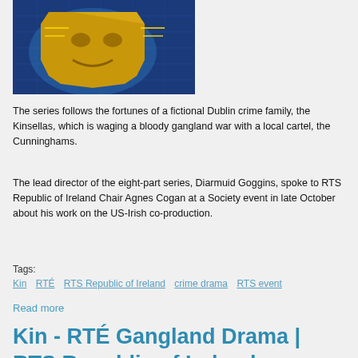[Figure (photo): A golden mask or emblem with circuit-board style lines against a blue digital background. Appears to be a TV show logo or promotional image.]
The series follows the fortunes of a fictional Dublin crime family, the Kinsellas, which is waging a bloody gangland war with a local cartel, the Cunninghams.
The lead director of the eight-part series, Diarmuid Goggins, spoke to RTS Republic of Ireland Chair Agnes Cogan at a Society event in late October about his work on the US-Irish co-production.
Tags:
Kin
RTÉ
RTS Republic of Ireland
crime drama
RTS event
Read more
Kin - RTÉ Gangland Drama | RTS Republic of Ireland